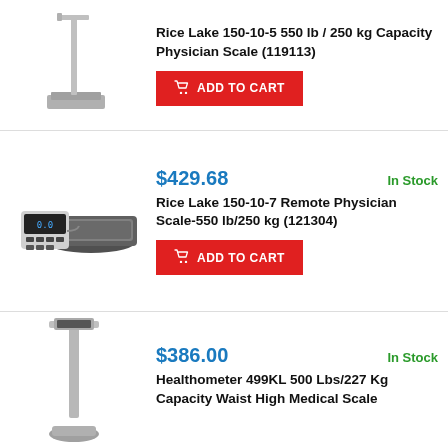[Figure (photo): Rice Lake physician scale with height rod, partial view]
Rice Lake 150-10-5 550 lb / 250 kg Capacity Physician Scale (119113)
[Figure (other): Add to Cart button]
[Figure (photo): Rice Lake 150-10-7 remote physician scale with separate display unit]
$429.68
In Stock
Rice Lake 150-10-7 Remote Physician Scale-550 lb/250 kg (121304)
[Figure (other): Add to Cart button]
[Figure (photo): Healthometer 499KL waist high medical scale with T-bar height rod]
$386.00
In Stock
Healthometer 499KL 500 Lbs/227 Kg Capacity Waist High Medical Scale